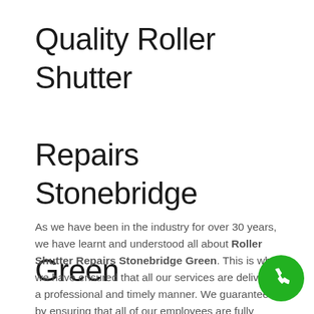Quality Roller Shutter Repairs Stonebridge Green
As we have been in the industry for over 30 years, we have learnt and understood all about Roller Shutter Repairs Stonebridge Green. This is why we have ensured that all our services are delivered in a professional and timely manner. We guarantee this by ensuring that all of our employees are fully qualified engineers who are able to tackle any Roller Shutter Repairs Stonebridge Green. To make every work undertaken easy, we have stocked most parts in our inventory thus making it easy for our staff to